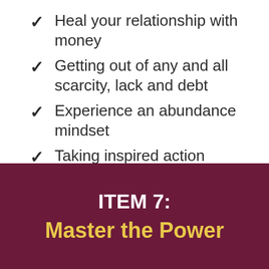Heal your relationship with money
Getting out of any and all scarcity, lack and debt
Experience an abundance mindset
Taking inspired action
ITEM 7:
Master the Power